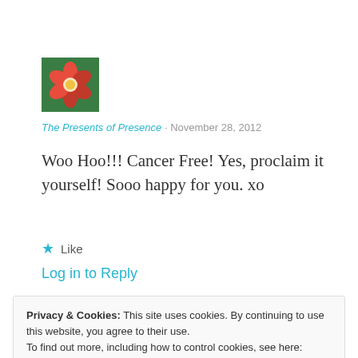[Figure (photo): Avatar image of a red flower/dahlia with green background]
The Presents of Presence · November 28, 2012
Woo Hoo!!! Cancer Free! Yes, proclaim it yourself! Sooo happy for you. xo
★ Like
Log in to Reply
Privacy & Cookies: This site uses cookies. By continuing to use this website, you agree to their use. To find out more, including how to control cookies, see here: Cookie Policy Close and accept